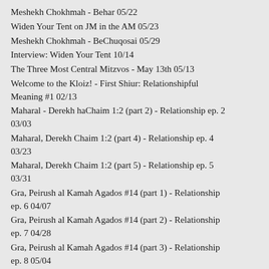Meshekh Chokhmah - Behar 05/22
Widen Your Tent on JM in the AM 05/23
Meshekh Chokhmah - BeChuqosai 05/29
Interview: Widen Your Tent 10/14
The Three Most Central Mitzvos - May 13th 05/13
Welcome to the Kloiz! - First Shiur: Relationshipful Meaning #1 02/13
Maharal - Derekh haChaim 1:2 (part 2) - Relationship ep. 2 03/03
Maharal, Derekh Chaim 1:2 (part 4) - Relationship ep. 4 03/23
Maharal, Derekh Chaim 1:2 (part 5) - Relationship ep. 5 03/31
Gra, Peirush al Kamah Agados #14 (part 1) - Relationship ep. 6 04/07
Gra, Peirush al Kamah Agados #14 (part 2) - Relationship ep. 7 04/28
Gra, Peirush al Kamah Agados #14 (part 3) - Relationship ep. 8 05/04